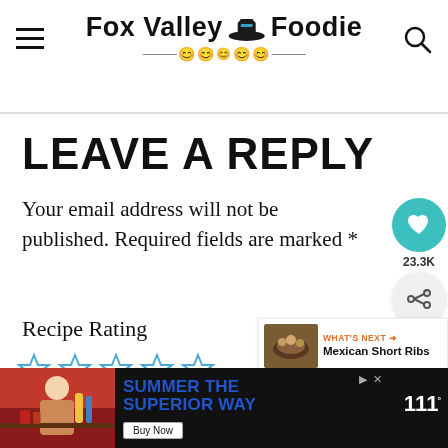Fox Valley 🎩 Foodie
LEAVE A REPLY
Your email address will not be published. Required fields are marked *
Recipe Rating
[Figure (other): Five empty star rating icons in a row]
[Figure (other): Heart icon button with 23.3K count and share button on right side]
[Figure (other): What's Next card: Mexican Short Ribs with food thumbnail]
[Figure (other): Advertisement banner: SUMMER THE SUPERIOR WAY with Buy Now button and W logo]